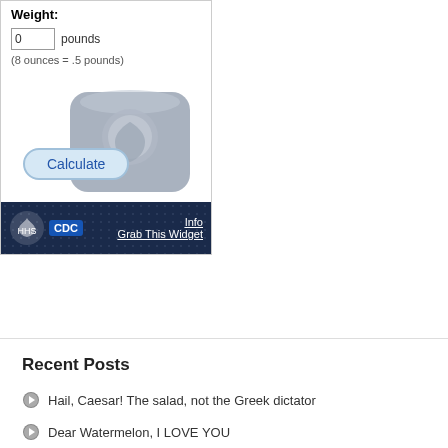Weight:
0 pounds
(8 ounces = .5 pounds)
[Figure (illustration): CDC BMI calculator widget with a bathroom scale illustration and a Calculate button, with a dark navy footer showing HHS and CDC logos, Info and Grab This Widget links]
Recent Posts
Hail, Caesar! The salad, not the Greek dictator
Dear Watermelon, I LOVE YOU